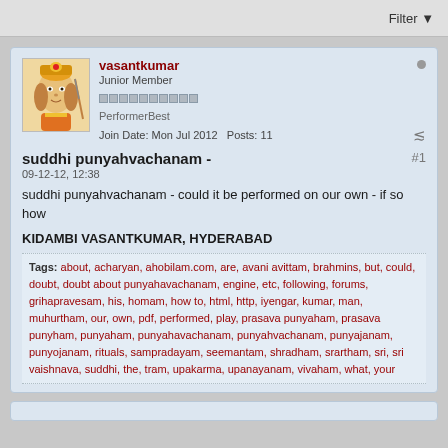Filter
vasantkumar
Junior Member
PerformerBest
Join Date: Mon Jul 2012    Posts: 11
suddhi punyahvachanam -
09-12-12, 12:38
suddhi punyahvachanam - could it be performed on our own - if so how
KIDAMBI VASANTKUMAR, HYDERABAD
Tags: about, acharyan, ahobilam.com, are, avani avittam, brahmins, but, could, doubt, doubt about punyahavachanam, engine, etc, following, forums, grihapravesam, his, homam, how to, html, http, iyengar, kumar, man, muhurtham, our, own, pdf, performed, play, prasava punyaham, prasava punyham, punyaham, punyahavachanam, punyahvachanam, punyajanam, punyojanam, rituals, sampradayam, seemantam, shradham, srartham, sri, sri vaishnava, suddhi, the, tram, upakarma, upanayanam, vivaham, what, your